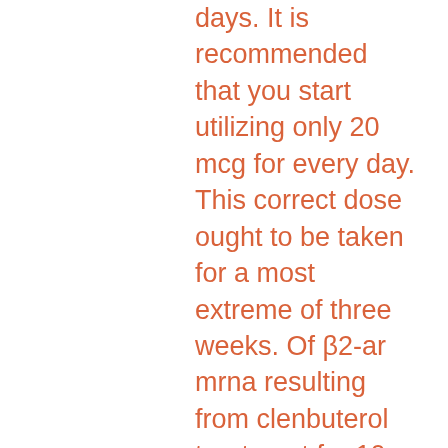days. It is recommended that you start utilizing only 20 mcg for every day. This correct dose ought to be taken for a most extreme of three weeks. Of β2-ar mrna resulting from clenbuterol treatment for 10 days in rats. Side effects by rotating their dosages, creating a clenbuterol cycle. Of clenbuterol after an effective anabolic dosage of 5 m. You can start your cycle at 20mcg/day and increase the dosage up to 120mcg in one week and then lowering the drug back to 20mcg in the next week. The typical dose for weight loss is 120-160 mcg per day. When athletes use clenbuterol to burn fat, they usually start at a low dose of 40 mcg and gradually. A 2 week cycle will often start in the 20-40mcg range, with the dose increasing every 1 or 2 days, until a maximum dose. But i am still not going to be able to get rid of my fat completely (a common myth), hence my goal for eating